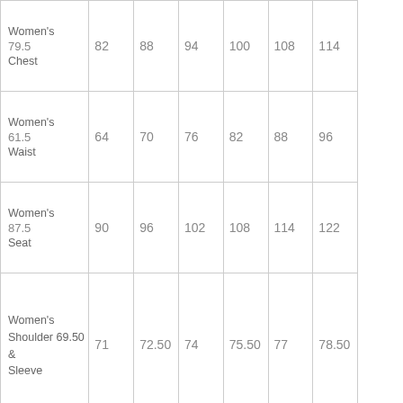| Measurement | Col1 | Col2 | Col3 | Col4 | Col5 | Col6 | Col7 |
| --- | --- | --- | --- | --- | --- | --- | --- |
| Women's Chest | 79.5 | 82 | 88 | 94 | 100 | 108 | 114 |
| Women's Waist | 61.5 | 64 | 70 | 76 | 82 | 88 | 96 |
| Women's Seat | 87.5 | 90 | 96 | 102 | 108 | 114 | 122 |
| Women's Shoulder & Sleeve | 69.50 | 71 | 72.50 | 74 | 75.50 | 77 | 78.50 |
| Women's Inside Leg Of | 77.50 | 79 | 80.50 | 82 | 83.50 | 85 | 86.50 |